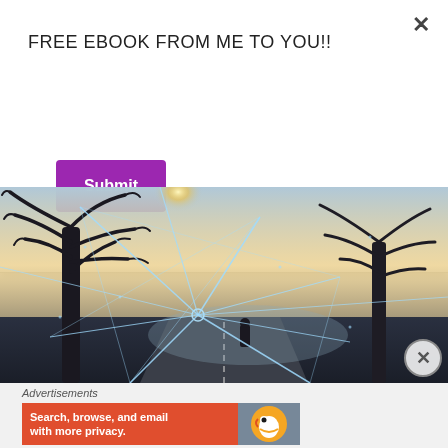FREE EBOOK FROM ME TO YOU!!
Submit
[Figure (photo): A moody, atmospheric photograph viewed through shattered glass. Bare winter trees silhouetted against a glowing sunset/sunrise sky. A lone figure stands in the misty distance on a road. The broken glass creates a spider-web crack pattern across the scene.]
Advertisements
[Figure (screenshot): An orange advertisement banner reading 'Search, browse, and email with more privacy.' with a DuckDuckGo duck logo badge on the right side.]